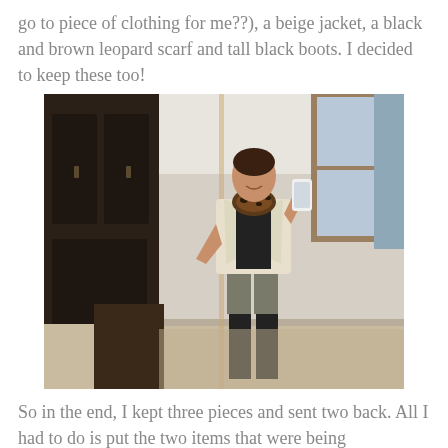go to piece of clothing for me??), a beige jacket, a black and brown leopard scarf and tall black boots. I decided to keep these too!
[Figure (photo): A woman standing in a bedroom taking a mirror selfie. She is wearing a beige/cream blazer jacket, a black and brown leopard print scarf, a black top, grey/olive skinny pants, and tall black boots. She is holding a white smartphone. The room has a dark wood armoire on the left, a mirror, and a window with curtains visible in the background.]
So in the end, I kept three pieces and sent two back. All I had to do is put the two items that were being